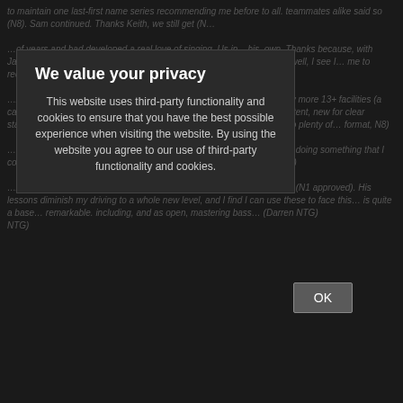[Figure (screenshot): A dark-themed privacy consent overlay dialog on a website. The dialog has a dark background (#2a2a2a) with white title text 'We value your privacy' and grey body text explaining third-party functionality and cookies usage. Behind the dialog, blurred/dimmed page text is visible. An OK button appears in the bottom right.]
We value your privacy
This website uses third-party functionality and cookies to ensure that you have the best possible experience when visiting the website. By using the website you agree to our use of third-party functionality and cookies.